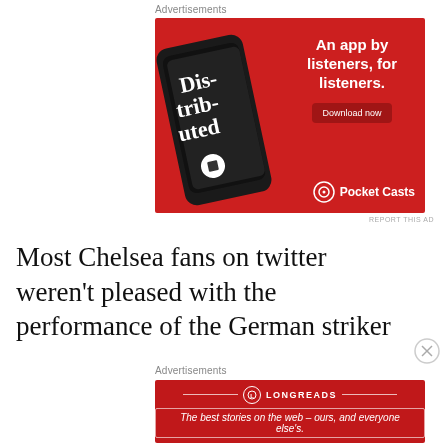Advertisements
[Figure (illustration): Pocket Casts app advertisement on red background showing a smartphone with a podcast app and text 'An app by listeners, for listeners.' with a Download now button and Pocket Casts logo]
REPORT THIS AD
Most Chelsea fans on twitter weren't pleased with the performance of the German striker
Advertisements
[Figure (illustration): Longreads advertisement on red background with tagline 'The best stories on the web – ours, and everyone else's.']